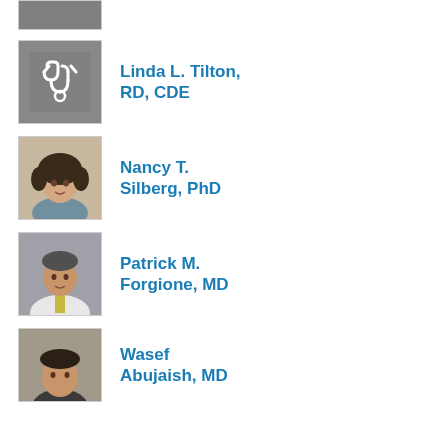[Figure (photo): Partial photo at top of page, cropped]
Linda L. Tilton, RD, CDE
[Figure (illustration): Gray stethoscope icon placeholder image for Linda L. Tilton]
Nancy T. Silberg, PhD
[Figure (photo): Photo of Nancy T. Silberg, PhD - woman with curly dark hair]
Patrick M. Forgione, MD
[Figure (photo): Photo of Patrick M. Forgione, MD - man in white coat]
Wasef Abujaish, MD
[Figure (photo): Photo of Wasef Abujaish, MD - partial at bottom]